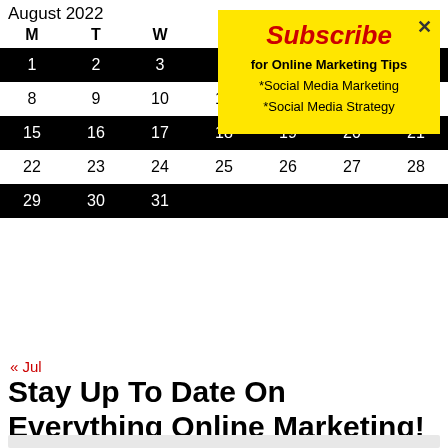| M | T | W | T | F | S | S |
| --- | --- | --- | --- | --- | --- | --- |
| 1 | 2 | 3 | 4 | 5 | 6 | 7 |
| 8 | 9 | 10 | 11 | 12 | 13 | 14 |
| 15 | 16 | 17 | 18 | 19 | 20 | 21 |
| 22 | 23 | 24 | 25 | 26 | 27 | 28 |
| 29 | 30 | 31 |  |  |  |  |
« Jul
Stay Up To Date On Everything Online Marketing!
[Figure (infographic): Yellow subscribe popup with red bold italic heading 'Subscribe', text 'for Online Marketing Tips', '*Social Media Marketing', '*Social Media Strategy', and an X close button]